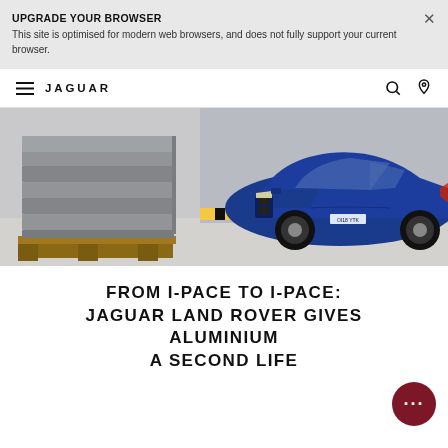UPGRADE YOUR BROWSER
This site is optimised for modern web browsers, and does not fully support your current browser.
[Figure (logo): Jaguar logo text and hamburger menu navigation bar]
[Figure (photo): Blue Jaguar I-PACE electric SUV parked next to stacked aluminium ingots on wooden pallets in an industrial setting]
FROM I-PACE TO I-PACE: JAGUAR LAND ROVER GIVES ALUMINIUM A SECOND LIFE